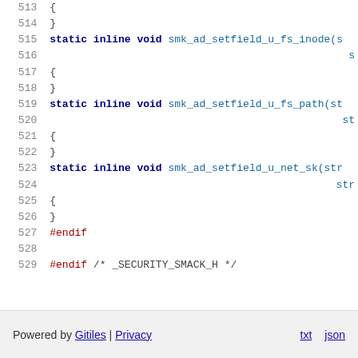Source code listing lines 513-529 of smack security header file
Powered by Gitiles | Privacy  txt  json